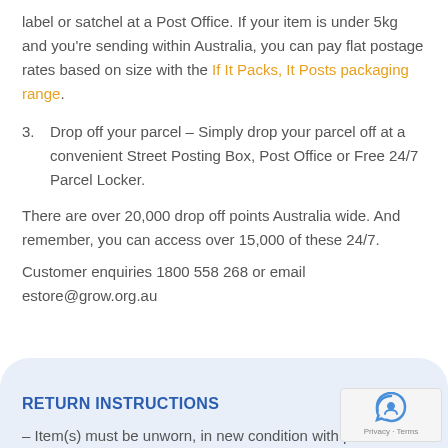label or satchel at a Post Office. If your item is under 5kg and you're sending within Australia, you can pay flat postage rates based on size with the If It Packs, It Posts packaging range.
3. Drop off your parcel – Simply drop your parcel off at a convenient Street Posting Box, Post Office or Free 24/7 Parcel Locker.
There are over 20,000 drop off points Australia wide. And remember, you can access over 15,000 of these 24/7.
Customer enquiries 1800 558 268 or email estore@grow.org.au
RETURN INSTRUCTIONS
– Item(s) must be unworn, in new condition with pack...